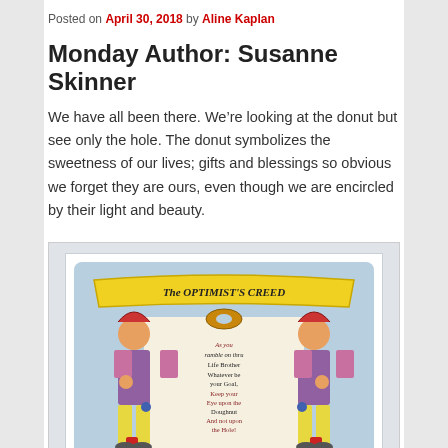Posted on April 30, 2018 by Aline Kaplan
Monday Author:  Susanne Skinner
We have all been there. We’re looking at the donut but see only the hole. The donut symbolizes the sweetness of our lives; gifts and blessings so obvious we forget they are ours, even though we are encircled by their light and beauty.
[Figure (illustration): Vintage illustration of 'The Optimist's Creed' showing two jesters/clowns holding a scroll with text about keeping your eye upon the Doughnut and not upon the Hole, with a yellow banner at top reading 'The OPTIMIST'S CREED']